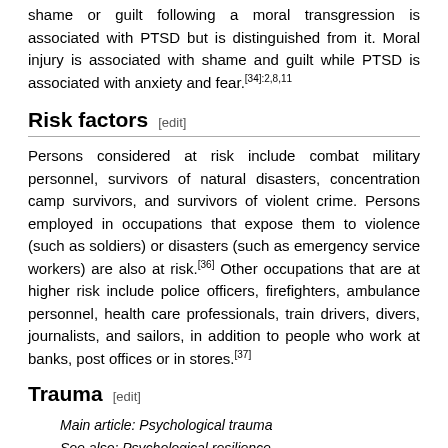shame or guilt following a moral transgression is associated with PTSD but is distinguished from it. Moral injury is associated with shame and guilt while PTSD is associated with anxiety and fear.[34]:2,8,11
Risk factors [edit]
Persons considered at risk include combat military personnel, survivors of natural disasters, concentration camp survivors, and survivors of violent crime. Persons employed in occupations that expose them to violence (such as soldiers) or disasters (such as emergency service workers) are also at risk.[36] Other occupations that are at higher risk include police officers, firefighters, ambulance personnel, health care professionals, train drivers, divers, journalists, and sailors, in addition to people who work at banks, post offices or in stores.[37]
Trauma [edit]
Main article: Psychological trauma
See also: Psychological resilience
PTSD has been associated with a wide range of